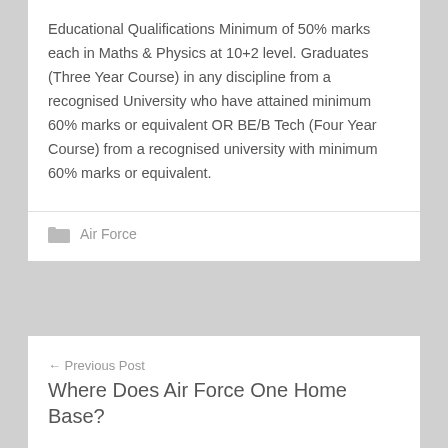Educational Qualifications Minimum of 50% marks each in Maths & Physics at 10+2 level. Graduates (Three Year Course) in any discipline from a recognised University who have attained minimum 60% marks or equivalent OR BE/B Tech (Four Year Course) from a recognised university with minimum 60% marks or equivalent.
Air Force
← Previous Post
Where Does Air Force One Home Base?